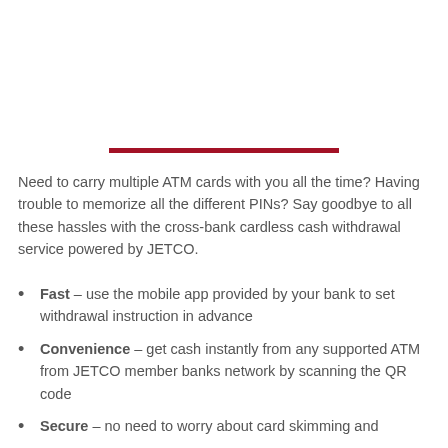[Figure (other): Red horizontal decorative line/divider]
Need to carry multiple ATM cards with you all the time? Having trouble to memorize all the different PINs? Say goodbye to all these hassles with the cross-bank cardless cash withdrawal service powered by JETCO.
Fast – use the mobile app provided by your bank to set withdrawal instruction in advance
Convenience – get cash instantly from any supported ATM from JETCO member banks network by scanning the QR code
Secure – no need to worry about card skimming and